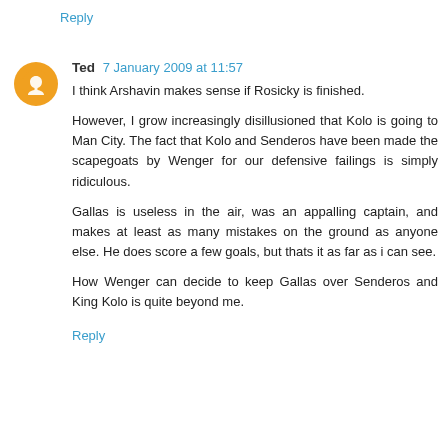Reply
Ted  7 January 2009 at 11:57
I think Arshavin makes sense if Rosicky is finished.

However, I grow increasingly disillusioned that Kolo is going to Man City. The fact that Kolo and Senderos have been made the scapegoats by Wenger for our defensive failings is simply ridiculous.

Gallas is useless in the air, was an appalling captain, and makes at least as many mistakes on the ground as anyone else. He does score a few goals, but thats it as far as i can see.

How Wenger can decide to keep Gallas over Senderos and King Kolo is quite beyond me.
Reply